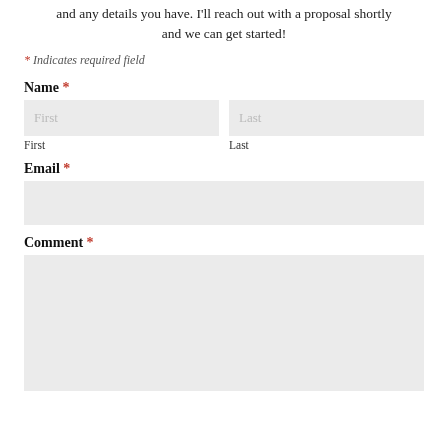and any details you have. I'll reach out with a proposal shortly and we can get started!
* Indicates required field
Name *
[Figure (screenshot): Form input fields: First name and Last name side by side, each with a light gray input box and sub-labels 'First' and 'Last']
Email *
[Figure (screenshot): Full-width light gray input box for email address]
Comment *
[Figure (screenshot): Large light gray textarea for comment input]